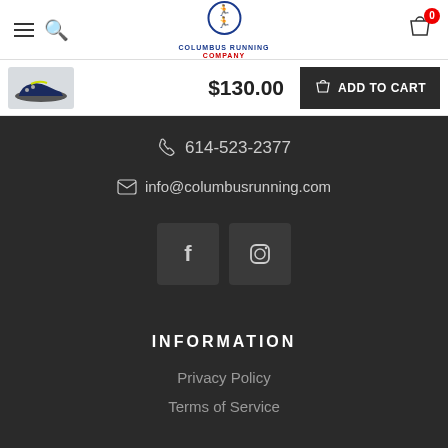[Figure (logo): Columbus Running Company logo with two runners and red/blue text]
[Figure (photo): Brooks running shoe in dark colorway with yellow accents, thumbnail view]
$130.00
ADD TO CART
614-523-2377
info@columbusrunning.com
[Figure (other): Facebook and Instagram social media icon buttons]
INFORMATION
Privacy Policy
Terms of Service